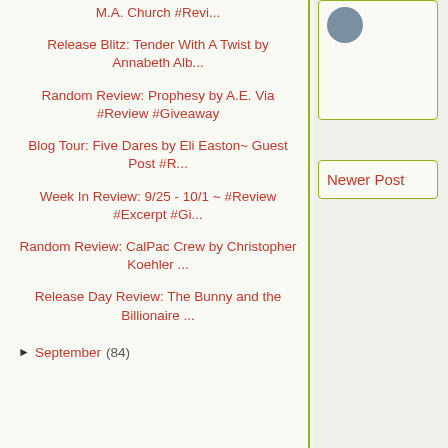M.A. Church #Revi...
Release Blitz: Tender With A Twist by Annabeth Alb...
Random Review: Prophesy by A.E. Via #Review #Giveaway
Blog Tour: Five Dares by Eli Easton~ Guest Post #R...
Week In Review: 9/25 - 10/1 ~ #Review #Excerpt #Gi...
Random Review: CalPac Crew by Christopher Koehler ...
Release Day Review: The Bunny and the Billionaire ...
► September (84)
Newer Post